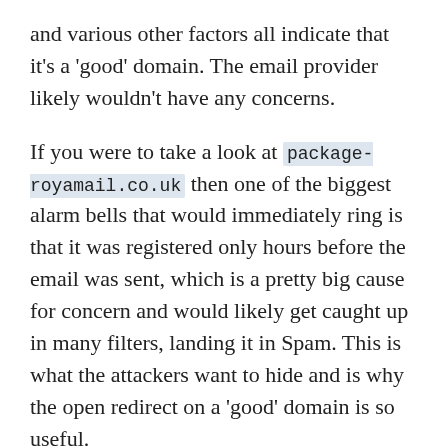and various other factors all indicate that it's a 'good' domain. The email provider likely wouldn't have any concerns.
If you were to take a look at package-royamail.co.uk then one of the biggest alarm bells that would immediately ring is that it was registered only hours before the email was sent, which is a pretty big cause for concern and would likely get caught up in many filters, landing it in Spam. This is what the attackers want to hide and is why the open redirect on a 'good' domain is so useful.
The other negative here is that it can start to have an impact on the domain reputation of homes4wiltshire.co.uk as they're linking out to sites